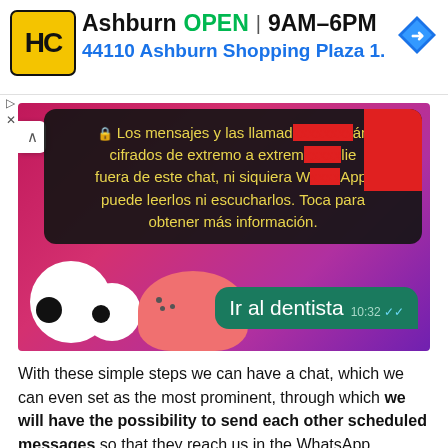[Figure (screenshot): Ad banner with HC logo, Ashburn OPEN 9AM-6PM, 44110 Ashburn Shopping Plaza 1., navigation arrow icon]
[Figure (screenshot): WhatsApp screenshot showing end-to-end encryption tooltip in Spanish and a message bubble 'Ir al dentista' at 10:32 with colorful background]
With these simple steps we can have a chat, which we can even set as the most prominent, through which we will have the possibility to send each other scheduled messages so that they reach us in the WhatsApp application as if they were reminders.